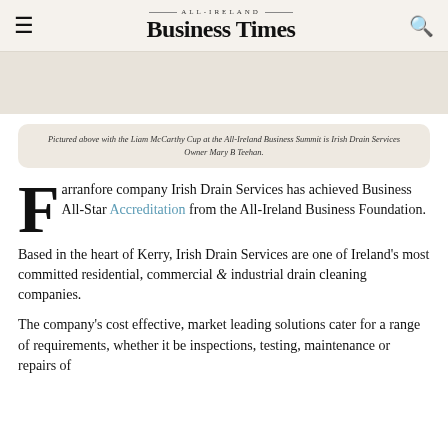ALL-IRELAND Business Times
Pictured above with the Liam McCarthy Cup at the All-Ireland Business Summit is Irish Drain Services Owner Mary B Teehan.
Farranfore company Irish Drain Services has achieved Business All-Star Accreditation from the All-Ireland Business Foundation.
Based in the heart of Kerry, Irish Drain Services are one of Ireland's most committed residential, commercial & industrial drain cleaning companies.
The company's cost effective, market leading solutions cater for a range of requirements, whether it be inspections, testing, maintenance or repairs of